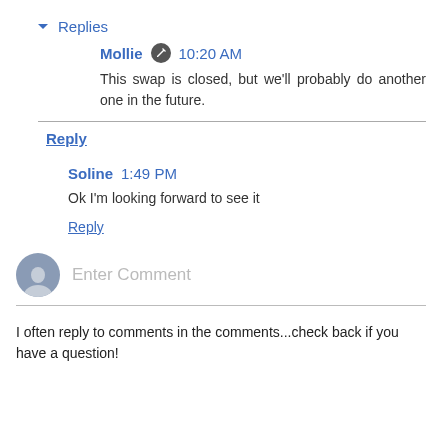▾ Replies
Mollie 🖊 10:20 AM
This swap is closed, but we'll probably do another one in the future.
Reply
Soline 1:49 PM
Ok I'm looking forward to see it
Reply
Enter Comment
I often reply to comments in the comments...check back if you have a question!